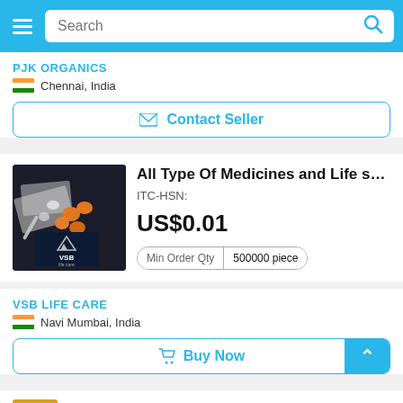[Figure (screenshot): Mobile e-commerce page header with search bar on blue background]
PJK ORGANICS
Chennai, India
Contact Seller
All Type Of Medicines and Life s…
ITC-HSN:
US$0.01
Min Order Qty   500000 piece
VSB LIFE CARE
Navi Mumbai, India
Buy Now